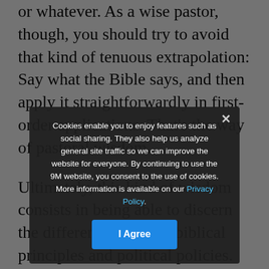or whatever. As a wise pastor, though, you should try to avoid that kind of tenuous extrapolation: Say what the Bible says, and then apply it straightforwardly in first-order applications. That's the way of pastoral wisdom.
Ultimately, this kind of wisdom consists in being able to discern the difference between biblical principles and political policies. So it's one thing to say, "Every human being is made in the image of God," but it's quite another to say, "and therefore this proposal by Congressman whoever should become law." The fact is, there are many, many different ways to negotiate the complexity of political life to determine what specific policy proposal is the best way to pursue to uphold those principles.
So, for example, the Bible speaks clearly to the truth that...
Cookies enable you to enjoy features such as social sharing. They also help us analyze general site traffic so we can improve the website for everyone. By continuing to use the 9M website, you consent to the use of cookies. More information is available on our Privacy Policy.
I Agree